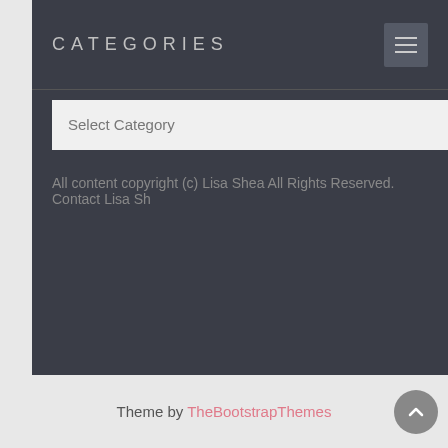CATEGORIES
Select Category
All content copyright (c) Lisa Shea All Rights Reserved. Contact Lisa Sh...
Theme by TheBootstrapThemes